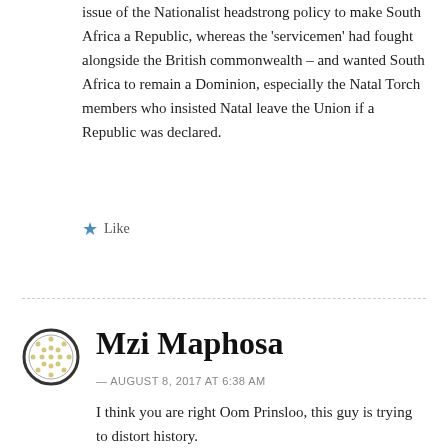issue of the Nationalist headstrong policy to make South Africa a Republic, whereas the 'servicemen' had fought alongside the British commonwealth – and wanted South Africa to remain a Dominion, especially the Natal Torch members who insisted Natal leave the Union if a Republic was declared.
★ Like
Mzi Maphosa
— AUGUST 8, 2017 AT 6:38 AM
I think you are right Oom Prinsloo, this guy is trying to distort history.
★ Like
Reply